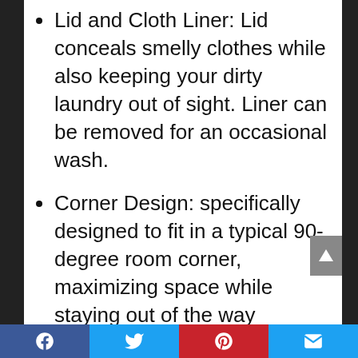Lid and Cloth Liner: Lid conceals smelly clothes while also keeping your dirty laundry out of sight. Liner can be removed for an occasional wash.
Corner Design: specifically designed to fit in a typical 90-degree room corner, maximizing space while staying out of the way
Durable and Lightweight: designed from bamboo to be lightweight yet durable for frequent use in your bedroom, laundry room or bathroom. The single laundry hamper can hold up to 1 loads of